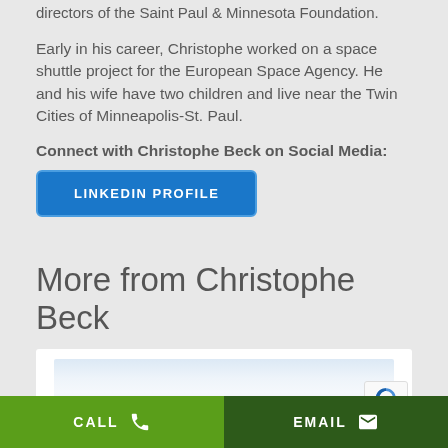directors of the Saint Paul & Minnesota Foundation.
Early in his career, Christophe worked on a space shuttle project for the European Space Agency. He and his wife have two children and live near the Twin Cities of Minneapolis-St. Paul.
Connect with Christophe Beck on Social Media:
[Figure (other): LinkedIn Profile button — blue rounded rectangle with white uppercase text 'LINKEDIN PROFILE']
More from Christophe Beck
[Figure (photo): Partial image preview with light blue sky/gradient, and a reCAPTCHA badge in the lower right corner]
CALL    EMAIL